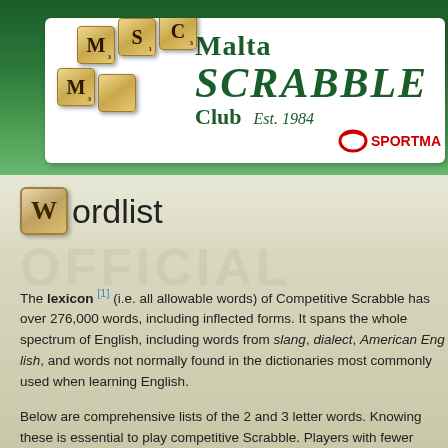[Figure (logo): Malta Scrabble Club logo with Scrabble tiles spelling MSC and text Malta SCRABBLE Club Est. 1984, with Sportma logo]
Wordlist
The lexicon (i.e. all allowable words) of Competitive Scrabble has over 276,000 words, including inflected forms. It spans the whole spectrum of English, including words from slang, dialect, American English, and words not normally found in the dictionaries most commonly used when learning English.
Below are comprehensive lists of the 2 and 3 letter words. Knowing these is essential to play competitive Scrabble. Players with fewer resources at their name can refer to these lists during games. For a printable list of 2 letter words, please click here. For a printable list of 3 letter words, please
Exploring and mastering the lexicon beyond 2 and 3 letter w